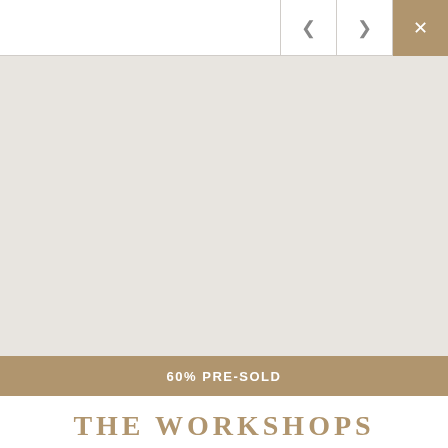[Figure (screenshot): Website UI navigation bar with back arrow, forward arrow, and close (X) buttons on the right side. The close button has a tan/gold background color.]
[Figure (photo): Large light grey placeholder image area representing a property photo or rendering.]
60% PRE-SOLD
THE WORKSHOPS